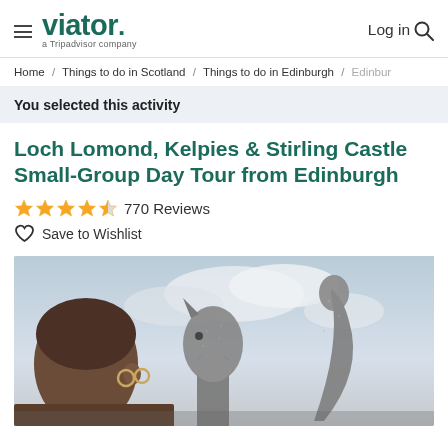viator. a Tripadvisor company | Log in
Home / Things to do in Scotland / Things to do in Edinburgh / Edinbur
You selected this activity
Loch Lomond, Kelpies & Stirling Castle Small-Group Day Tour from Edinburgh
770 Reviews
Save to Wishlist
[Figure (photo): Photo of a man with glasses in the foreground and two large horse-head Kelpies sculptures against a cloudy sky in the background]